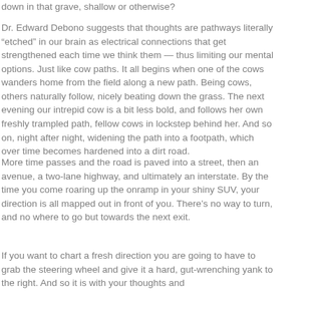down in that grave, shallow or otherwise?
Dr. Edward Debono suggests that thoughts are pathways literally “etched” in our brain as electrical connections that get strengthened each time we think them — thus limiting our mental options. Just like cow paths. It all begins when one of the cows wanders home from the field along a new path. Being cows, others naturally follow, nicely beating down the grass. The next evening our intrepid cow is a bit less bold, and follows her own freshly trampled path, fellow cows in lockstep behind her. And so on, night after night, widening the path into a footpath, which over time becomes hardened into a dirt road.
More time passes and the road is paved into a street, then an avenue, a two-lane highway, and ultimately an interstate. By the time you come roaring up the onramp in your shiny SUV, your direction is all mapped out in front of you. There’s no way to turn, and no where to go but towards the next exit.
If you want to chart a fresh direction you are going to have to grab the steering wheel and give it a hard, gut-wrenching yank to the right. And so it is with your thoughts and